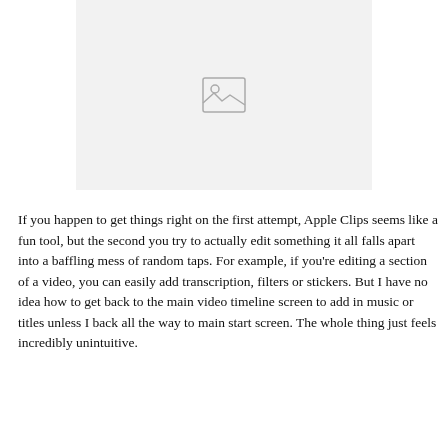[Figure (other): Image placeholder with a landscape/photo icon (rectangle with mountain and sun outline) on a light gray background]
If you happen to get things right on the first attempt, Apple Clips seems like a fun tool, but the second you try to actually edit something it all falls apart into a baffling mess of random taps. For example, if you're editing a section of a video, you can easily add transcription, filters or stickers. But I have no idea how to get back to the main video timeline screen to add in music or titles unless I back all the way to main start screen. The whole thing just feels incredibly unintuitive.